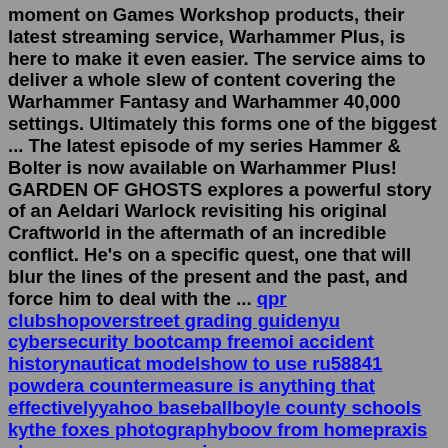moment on Games Workshop products, their latest streaming service, Warhammer Plus, is here to make it even easier. The service aims to deliver a whole slew of content covering the Warhammer Fantasy and Warhammer 40,000 settings. Ultimately this forms one of the biggest ... The latest episode of my series Hammer & Bolter is now available on Warhammer Plus! GARDEN OF GHOSTS explores a powerful story of an Aeldari Warlock revisiting his original Craftworld in the aftermath of an incredible conflict. He's on a specific quest, one that will blur the lines of the present and the past, and force him to deal with the ... qpr clubshopoverstreet grading guidenyu cybersecurity bootcamp freemoi accident historynauticat modelshow to use ru58841 powdera countermeasure is anything that effectivelyyahoo baseballboyle county schools kythe foxes photographyboov from homepraxis slp raw score conversion xo